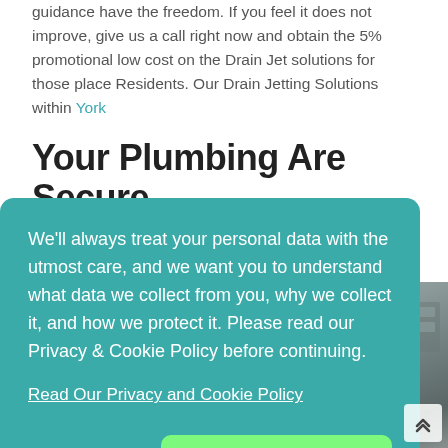guidance have the freedom. If you feel it does not improve, give us a call right now and obtain the 5% promotional low cost on the Drain Jet solutions for those place Residents. Our Drain Jetting Solutions within York
Your Plumbing Are Secure
We'll always treat your personal data with the utmost care, and we want you to understand what data we collect from you, why we collect it, and how we protect it. Please read our Privacy & Cookie Policy before continuing.

Read Our Privacy and Cookie Policy

Decline   Accept
[Figure (photo): Partial photo of industrial plumbing/drain jetting equipment and workers visible at bottom and right side of page, partially obscured by cookie consent banner.]